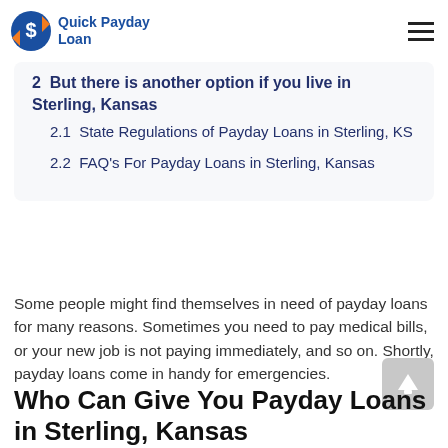Quick Payday Loan
2  But there is another option if you live in Sterling, Kansas
2.1  State Regulations of Payday Loans in Sterling, KS
2.2  FAQ's For Payday Loans in Sterling, Kansas
Some people might find themselves in need of payday loans for many reasons. Sometimes you need to pay medical bills, or your new job is not paying immediately, and so on. Shortly, payday loans come in handy for emergencies.
Who Can Give You Payday Loans in Sterling, Kansas